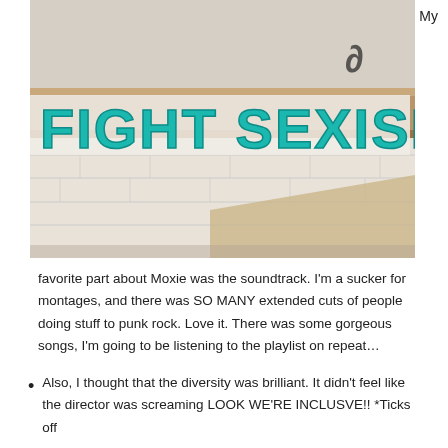[Figure (photo): Photograph of a wall with blue spray-painted graffiti reading 'FIGHT SEXISM!' on a white surface beneath a decorative cornice]
favorite part about Moxie was the soundtrack. I'm a sucker for montages, and there was SO MANY extended cuts of people doing stuff to punk rock. Love it. There was some gorgeous songs, I'm going to be listening to the playlist on repeat…
Also, I thought that the diversity was brilliant. It didn't feel like the director was screaming LOOK WE'RE INCLUSVE!! *Ticks off